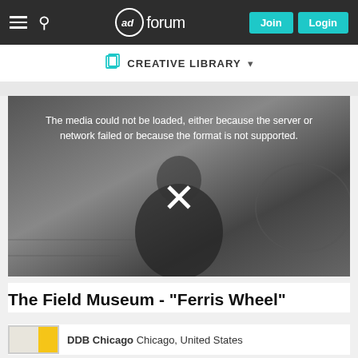adforum — Join | Login
CREATIVE LIBRARY
[Figure (screenshot): Video player showing a black and white photo of a person viewed from behind looking at a display. The video cannot load and shows the error message: The media could not be loaded, either because the server or network failed or because the format is not supported. An X icon appears in the center of the player.]
The Field Museum - "Ferris Wheel"
DDB Chicago Chicago, United States